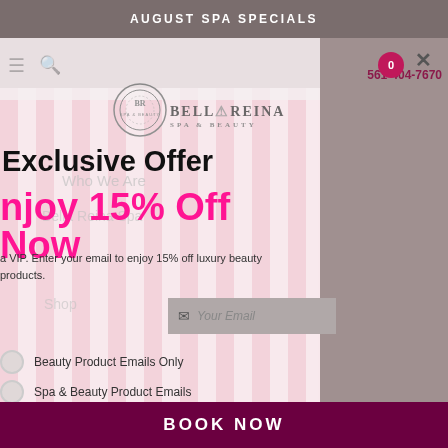AUGUST SPA SPECIALS
[Figure (screenshot): Bella Reina Spa & Beauty website screenshot showing navigation with logo, hamburger menu, search icon, phone number 561-404-7670, and cart icon with 0 items. Background shows pink striped pattern. A popup modal overlay is visible with an exclusive offer.]
Exclusive Offer
Enjoy 15% Off Now
a VIP. Enter your email to enjoy 15% off luxury beauty products.
Your Email
Beauty Product Emails Only
Spa & Beauty Product Emails
✉ Sign Up Now ✉
BOOK NOW